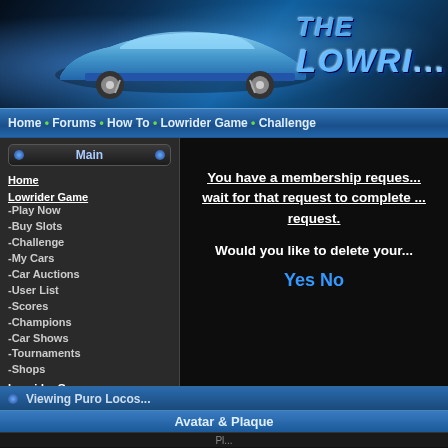[Figure (screenshot): Website banner with blue lowrider car and 'THE LOWRI...' title text on dark blue background]
Home • Forums • How To • Lowrider Game • Challenge
Main
Home
Lowrider Game
-Play Now
-Buy Slots
-Challenge
-My Cars
-Car Auctions
-User List
-Scores
-Champions
-Car Shows
-Tournaments
-Shops
Lowrider Games:
-Monte Carlo
-Expedition
-3D 57 Chevy
-2-Player Game
-Cadillac Hopper
-Cadillac Dancer
-Cutlass Hopper
-Regal Hopper
You have a membership request... wait for that request to complete ... request.
Would you like to delete your...
Yes No
Viewing Puro Locos...
Avatar & Plaque